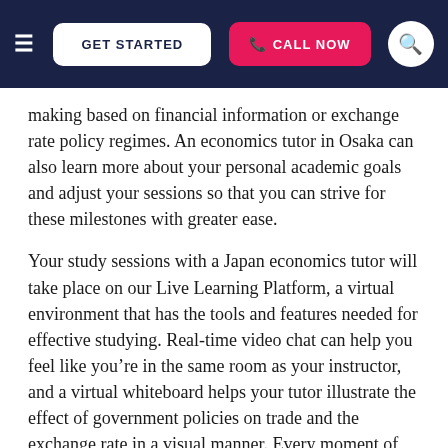GET STARTED | CALL NOW
making based on financial information or exchange rate policy regimes. An economics tutor in Osaka can also learn more about your personal academic goals and adjust your sessions so that you can strive for these milestones with greater ease.
Your study sessions with a Japan economics tutor will take place on our Live Learning Platform, a virtual environment that has the tools and features needed for effective studying. Real-time video chat can help you feel like you’re in the same room as your instructor, and a virtual whiteboard helps your tutor illustrate the effect of government policies on trade and the exchange rate in a visual manner. Every moment of your economics tutoring in Osaka is automatically saved and recorded. This gives you the opportunity to refer back to important discussions on